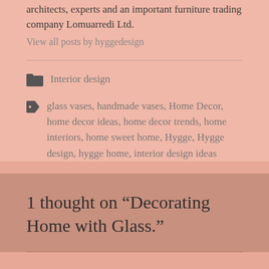architects, experts and an important furniture trading company Lomuarredi Ltd.
View all posts by hyggedesign
Interior design
glass vases, handmade vases, Home Decor, home decor ideas, home decor trends, home interiors, home sweet home, Hygge, Hygge design, hygge home, interior design ideas
1 thought on “Decorating Home with Glass.”